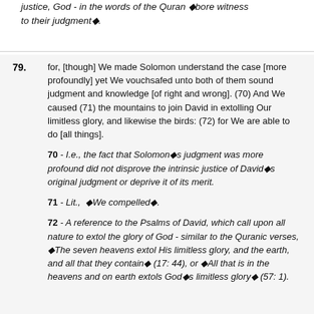justice, God - in the words of the Quran ¿bore witness to their judgment¿.
79. for, [though] We made Solomon understand the case [more profoundly] yet We vouchsafed unto both of them sound judgment and knowledge [of right and wrong]. (70) And We caused (71) the mountains to join David in extolling Our limitless glory, and likewise the birds: (72) for We are able to do [all things].
70 - I.e., the fact that Solomon¿s judgment was more profound did not disprove the intrinsic justice of David¿s original judgment or deprive it of its merit.
71 - Lit., ¿We compelled¿.
72 - A reference to the Psalms of David, which call upon all nature to extol the glory of God - similar to the Quranic verses, ¿The seven heavens extol His limitless glory, and the earth, and all that they contain¿ (17: 44), or ¿All that is in the heavens and on earth extols God¿s limitless glory¿ (57: 1).